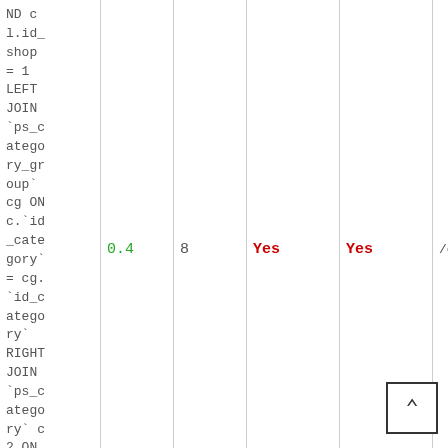| SQL | 0.4 | 8 | Yes | Yes | /classes/Category.php:5 |
| --- | --- | --- | --- | --- | --- |
| ND c l.id_shop = 1 LEFT JOIN `ps_category_group` cg ON c.`id_category` = cg.`id_category` RIGHT JOIN `ps_category` c2 ON c2.`id_cat |  |  |  |  |  |